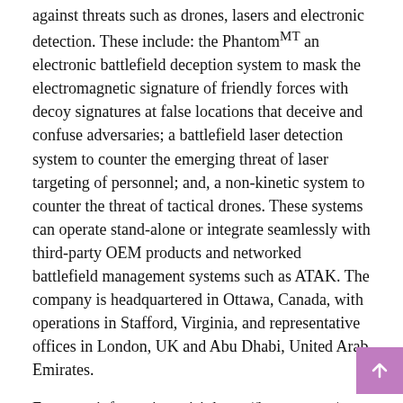against threats such as drones, lasers and electronic detection. These include: the Phantomᴹᵀ an electronic battlefield deception system to mask the electromagnetic signature of friendly forces with decoy signatures at false locations that deceive and confuse adversaries; a battlefield laser detection system to counter the emerging threat of laser targeting of personnel; and, a non-kinetic system to counter the threat of tactical drones. These systems can operate stand-alone or integrate seamlessly with third-party OEM products and networked battlefield management systems such as ATAK. The company is headquartered in Ottawa, Canada, with operations in Stafford, Virginia, and representative offices in London, UK and Abu Dhabi, United Arab Emirates.
For more information, visit https://kwesst.com/
Contact: Steve Archambault, Chief Financial Officer, archambault@kwesst.com or (613) 317-3941
Jason Frame, Investor Relations: frame@kwesst.com